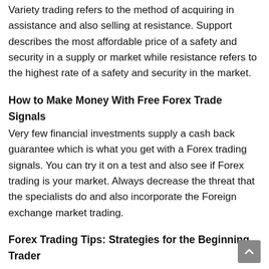Variety trading refers to the method of acquiring in assistance and also selling at resistance. Support describes the most affordable price of a safety and security in a supply or market while resistance refers to the highest rate of a safety and security in the market.
How to Make Money With Free Forex Trade Signals
Very few financial investments supply a cash back guarantee which is what you get with a Forex trading signals. You can try it on a test and also see if Forex trading is your market. Always decrease the threat that the specialists do and also incorporate the Foreign exchange market trading.
Forex Trading Tips: Strategies for the Beginning Trader
These easy to comply with and comprehend foreign exchange trading suggestions are indicated for the starting investor, must not be an alternative to self-education and learning. So...